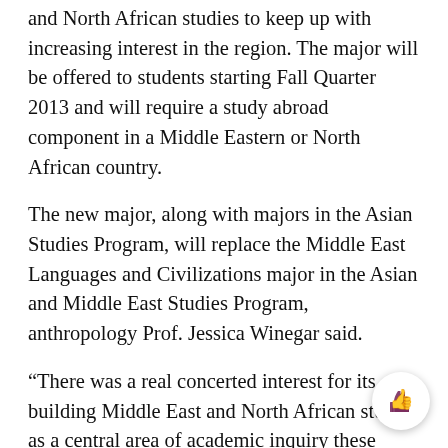and North African studies to keep up with increasing interest in the region. The major will be offered to students starting Fall Quarter 2013 and will require a study abroad component in a Middle Eastern or North African country.
The new major, along with majors in the Asian Studies Program, will replace the Middle East Languages and Civilizations major in the Asian and Middle East Studies Program, anthropology Prof. Jessica Winegar said.
“There was a real concerted interest for its building Middle East and North African studies as a central area of academic inquiry these days,” Winegar said. “It was seen as an area of exciting scholarship.”
These factors, combined with the region’s growing influence in international politics, led the University to create this interdisciplinary major, she said.
Winegar said the University is implementing a 300-level